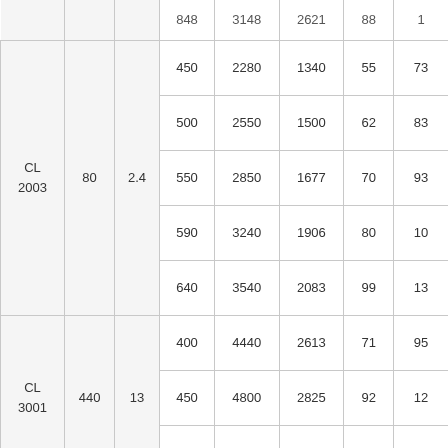| Model | B | C | D | E | F | G | H |
| --- | --- | --- | --- | --- | --- | --- | --- |
|  |  |  | 450 | 2280 | 1340 | 55 | 73+ |
|  |  |  | 500 | 2550 | 1500 | 62 | 83+ |
| CL 2003 | 80 | 2.4 | 550 | 2850 | 1677 | 70 | 93+ |
|  |  |  | 590 | 3240 | 1906 | 80 | 10+ |
|  |  |  | 640 | 3540 | 2083 | 99 | 13+ |
|  |  |  | 400 | 4440 | 2613 | 71 | 95+ |
| CL 3001 | 440 | 13 | 450 | 4800 | 2825 | 92 | 12+ |
|  |  |  | 500 | 5130 | 3020 | 111 | 14+ |